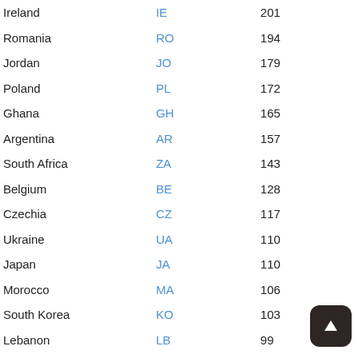| Country | Code | Value |
| --- | --- | --- |
| Ireland | IE | 201 |
| Romania | RO | 194 |
| Jordan | JO | 179 |
| Poland | PL | 172 |
| Ghana | GH | 165 |
| Argentina | AR | 157 |
| South Africa | ZA | 143 |
| Belgium | BE | 128 |
| Czechia | CZ | 117 |
| Ukraine | UA | 110 |
| Japan | JA | 110 |
| Morocco | MA | 106 |
| South Korea | KO | 103 |
| Lebanon | LB | 99 |